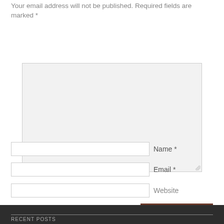Your email address will not be published. Required fields are marked *
[Figure (screenshot): Comment text area input box, large, light gray background with resize handle]
Name *
Email *
Website
Post Comment
RECENT POSTS